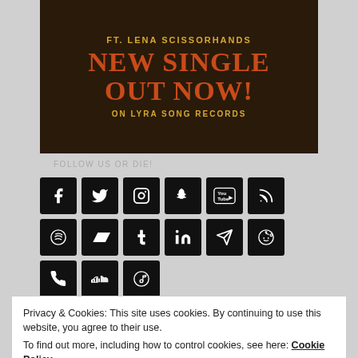[Figure (illustration): Promotional banner image with dark fantasy background. Text reads: FT. LENA SCISSORHANDS / NEW SINGLE OUT NOW! / ON LYRA SONG RECORDS]
FOLLOW US OR DIE!
[Figure (infographic): Grid of 15 social media icon buttons on black rounded-square backgrounds: Facebook, Twitter/X, Instagram, Snapchat, YouTube, RSS, Spotify, Bandcamp, Tumblr, LinkedIn, Telegram, Reddit, Phone, SoundCloud, Apple Music]
Privacy & Cookies: This site uses cookies. By continuing to use this website, you agree to their use.
To find out more, including how to control cookies, see here: Cookie Policy
Close and accept